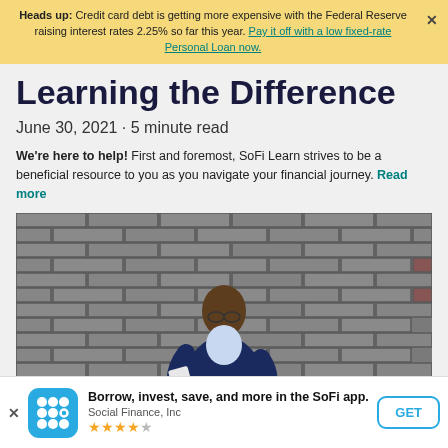Heads up: Credit card debt is getting more expensive with the Federal Reserve raising interest rates 2.25% so far this year. Pay it off with a low fixed-rate Personal Loan now.
Learning the Difference
June 30, 2021 · 5 minute read
We're here to help! First and foremost, SoFi Learn strives to be a beneficial resource to you as you navigate your financial journey. Read more
[Figure (photo): A man in a blue suit standing against a brick wall, looking down at his phone, holding papers under his arm.]
Borrow, invest, save, and more in the SoFi app. Social Finance, Inc ★★★★½ GET